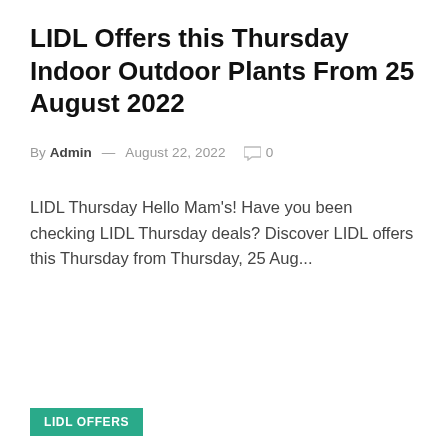LIDL Offers this Thursday Indoor Outdoor Plants From 25 August 2022
By Admin — August 22, 2022  0
LIDL Thursday Hello Mam's! Have you been checking LIDL Thursday deals? Discover LIDL offers this Thursday from Thursday, 25 Aug...
LIDL OFFERS